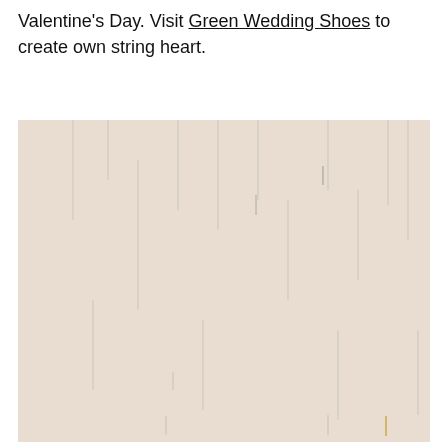Valentine's Day. Visit Green Wedding Shoes to create own string heart.
[Figure (photo): A room with colorful felt or paper hearts of various sizes and colors (red, pink, green, teal, light blue, dark blue, orange, white) hanging from strings attached to the ceiling, creating a decorative heart mobile installation.]